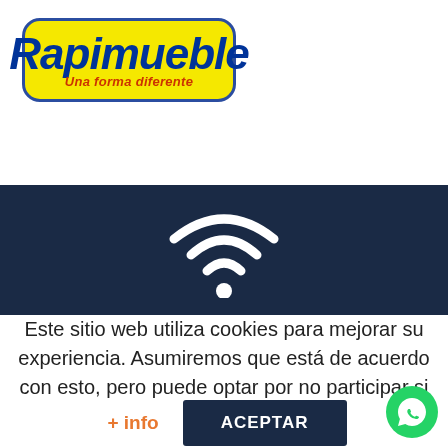[Figure (logo): Rapimueble logo — yellow rounded rectangle with blue border, bold dark blue italic text 'Rapimueble', red italic subtitle 'Una forma diferente']
[Figure (illustration): Dark navy blue banner with a white WiFi icon in the center]
Este sitio web utiliza cookies para mejorar su experiencia. Asumiremos que está de acuerdo con esto, pero puede optar por no participar si lo desea.
+ info
ACEPTAR
[Figure (illustration): Green WhatsApp icon button in bottom right corner]